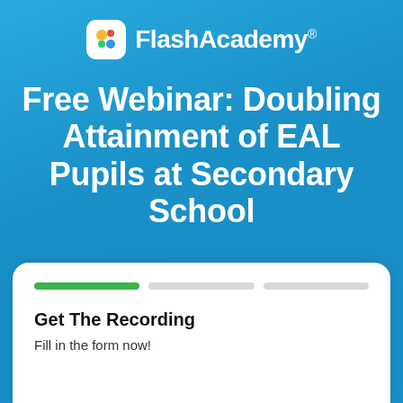[Figure (logo): FlashAcademy logo: white rounded square icon with colorful F design, followed by FlashAcademy® text in white]
Free Webinar: Doubling Attainment of EAL Pupils at Secondary School
Fill in the form to receive a link to the full recording!
[Figure (infographic): White card panel with three-segment progress bar (first segment green/active, second and third grey/inactive), heading 'Get The Recording', and subtext 'Fill in the form now!']